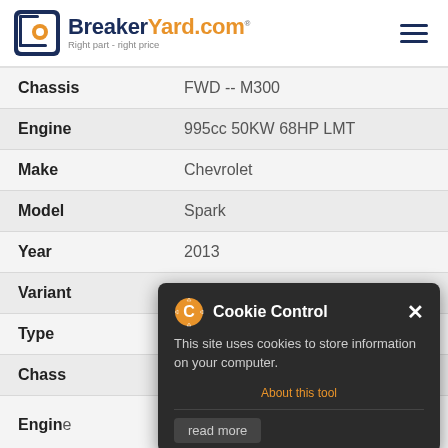[Figure (logo): BreakerYard.com logo with orange B icon and tagline 'Right part - right price']
| Field | Value |
| --- | --- |
| Chassis | FWD -- M300 |
| Engine | 995cc 50KW 68HP LMT |
| Make | Chevrolet |
| Model | Spark |
| Year | 2013 |
| Variant | Petrol Hatchback |
| Type |  |
| Chassis |  |
| Engine | 1199cc 57KW 77HP LC5(73CUL4) |
| Make | Chevrolet |
[Figure (screenshot): Cookie Control popup overlay showing: title 'Cookie Control' with gear/cookie icon, close X button, body text 'This site uses cookies to store information on your computer.', orange link 'About this tool', and 'read more' button]